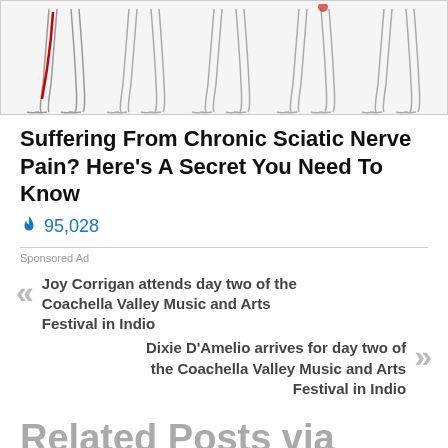[Figure (illustration): Medical illustration showing multiple pairs of human legs from the knee down, with one leg showing a red highlighted sciatic nerve path running down the leg]
Suffering From Chronic Sciatic Nerve Pain? Here's A Secret You Need To Know
95,028
Sponsored Ad
Joy Corrigan attends day two of the Coachella Valley Music and Arts Festival in Indio
Dixie D'Amelio arrives for day two of the Coachella Valley Music and Arts Festival in Indio
Related Posts via Categories